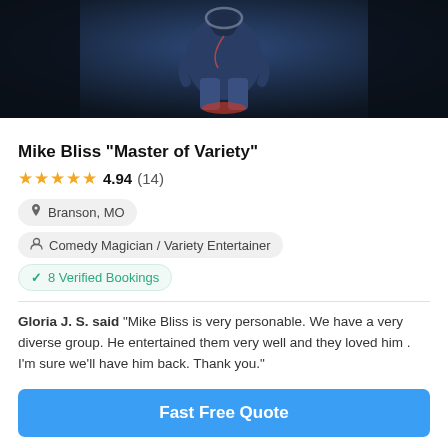[Figure (photo): Dark dramatic photo of performer Mike Bliss seated, wearing jeans and blue jacket, shot from above against dark background]
Mike Bliss "Master of Variety"
★★★★★ 4.94 (14)
📍 Branson, MO
👤 Comedy Magician / Variety Entertainer
✓ 8 Verified Bookings
Gloria J. S. said "Mike Bliss is very personable. We have a very diverse group. He entertained them very well and they loved him . I'm sure we'll have him back. Thank you."
Fast Free Quote
[Figure (photo): Partial bottom photo showing red/dark background with golden object, likely a next performer card]